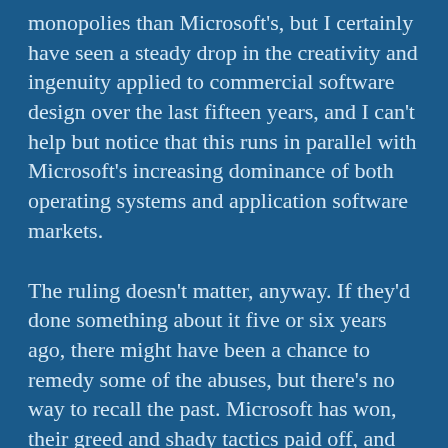monopolies than Microsoft's, but I certainly have seen a steady drop in the creativity and ingenuity applied to commercial software design over the last fifteen years, and I can't help but notice that this runs in parallel with Microsoft's increasing dominance of both operating systems and application software markets.
The ruling doesn't matter, anyway. If they'd done something about it five or six years ago, there might have been a chance to remedy some of the abuses, but there's no way to recall the past. Microsoft has won, their greed and shady tactics paid off, and there's no way to gain back the diversity now lost.
-Mars (yes, I'm bitter)
posted by Mars Saxman at 11:07 AM on September 6, 2001
wondering if the justice department has received any